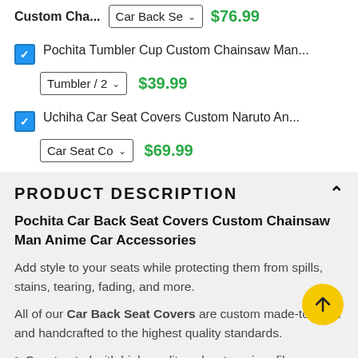Custom Cha... | Car Back Se... | $76.99
Pochita Tumbler Cup Custom Chainsaw Man... | Tumbler / 2 | $39.99
Uchiha Car Seat Covers Custom Naruto An... | Car Seat Co... | $69.99
PRODUCT DESCRIPTION
Pochita Car Back Seat Covers Custom Chainsaw Man Anime Car Accessories
Add style to your seats while protecting them from spills, stains, tearing, fading, and more.
All of our Car Back Seat Covers are custom made-to-order and handcrafted to the highest quality standards.
Constructed with high-quality polyester micro-fiber